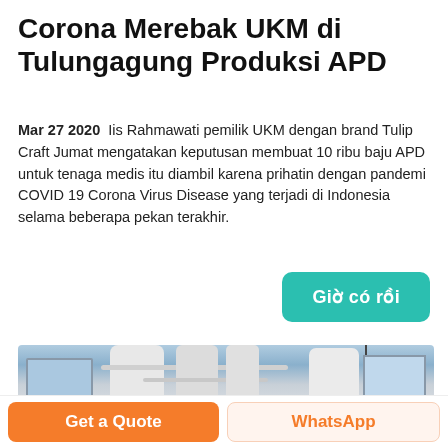Corona Merebak UKM di Tulungagung Produksi APD
Mar 27 2020  Iis Rahmawati pemilik UKM dengan brand Tulip Craft Jumat mengatakan keputusan membuat 10 ribu baju APD untuk tenaga medis itu diambil karena prihatin dengan pandemi COVID 19 Corona Virus Disease yang terjadi di Indonesia selama beberapa pekan terakhir.
[Figure (illustration): Button/badge with text: Giờ có rồi on teal/green background with rounded corners]
[Figure (photo): Industrial machinery with white cylindrical tanks and pipes inside a factory building]
Get a Quote   WhatsApp